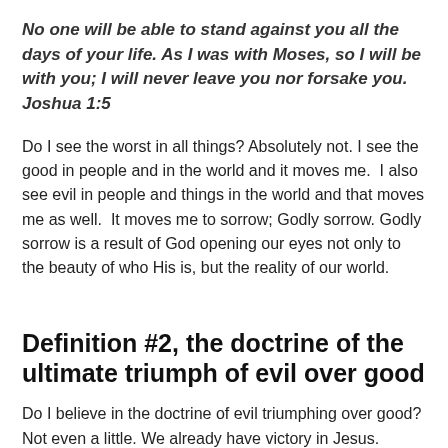No one will be able to stand against you all the days of your life. As I was with Moses, so I will be with you; I will never leave you nor forsake you.  Joshua 1:5
Do I see the worst in all things? Absolutely not. I see the good in people and in the world and it moves me.  I also see evil in people and things in the world and that moves me as well.  It moves me to sorrow; Godly sorrow. Godly sorrow is a result of God opening our eyes not only to the beauty of who His is, but the reality of our world.
Definition #2, the doctrine of the ultimate triumph of evil over good
Do I believe in the doctrine of evil triumphing over good?  Not even a little. We already have victory in Jesus. Nothing that we do or that happens can change